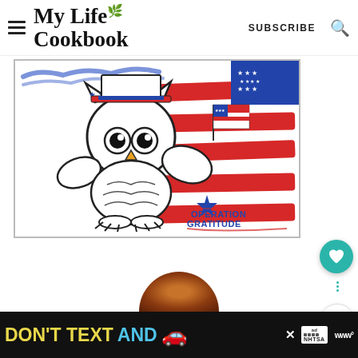My Life Cookbook — SUBSCRIBE
[Figure (illustration): Cartoon owl holding an American flag with red stripes brushstroke background and Operation Gratitude logo]
[Figure (photo): Partial circular food photo at bottom center]
[Figure (infographic): Ad banner: DON'T TEXT AND [car emoji] — NHTSA advertisement on black background]